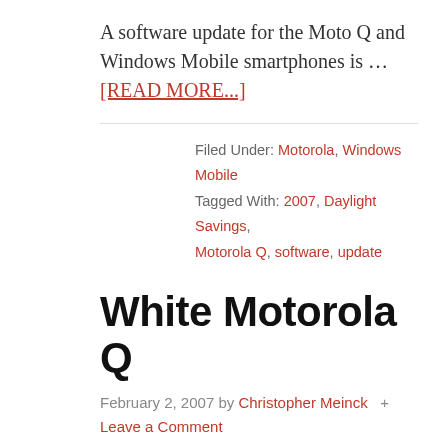A software update for the Moto Q and Windows Mobile smartphones is … [READ MORE...]
Filed Under: Motorola, Windows Mobile
Tagged With: 2007, Daylight Savings, Motorola Q, software, update
White Motorola Q
February 2, 2007 by Christopher Meinck + Leave a Comment
To date, we've seen the Moto Q in black, silver and gun-metal gray. This photo of a white Motorola Q could be nothing more than a can of...